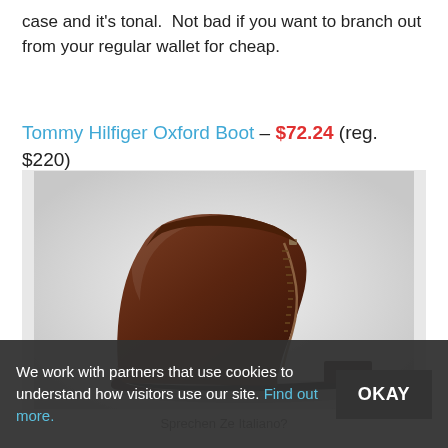case and it's tonal.  Not bad if you want to branch out from your regular wallet for cheap.
Tommy Hilfiger Oxford Boot – $72.24 (reg. $220)
[Figure (photo): Brown leather Tommy Hilfiger Oxford Boot with side zipper, shown in profile on a light gray background.]
Sprechen Ze Italiano?
We work with partners that use cookies to understand how visitors use our site. Find out more.